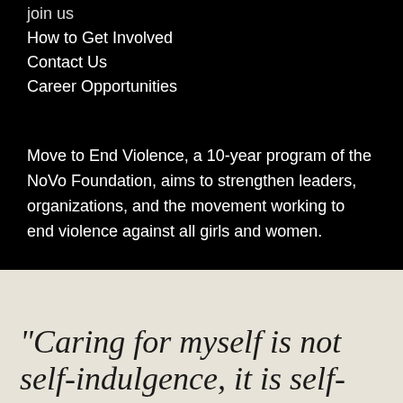join us
How to Get Involved
Contact Us
Career Opportunities
Move to End Violence, a 10-year program of the NoVo Foundation, aims to strengthen leaders, organizations, and the movement working to end violence against all girls and women.
“Caring for myself is not self-indulgence, it is self-